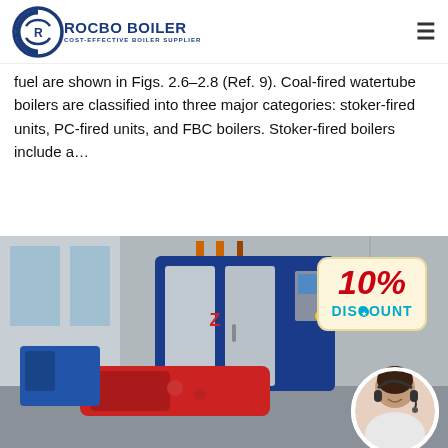ROCBO BOILER — COST-EFFECTIVE BOILER SUPPLIER
fuel are shown in Figs. 2.6–2.8 (Ref. 9). Coal-fired watertube boilers are classified into three major categories: stoker-fired units, PC-fired units, and FBC boilers. Stoker-fired boilers include a…
Get Price
[Figure (photo): Industrial boiler (blue and silver cabinet-style watertube boiler with red burner assembly) inside a factory. A 10% DISCOUNT badge hangs in the top right corner. A circular inset photo of a female customer service agent wearing a headset appears in the bottom right.]